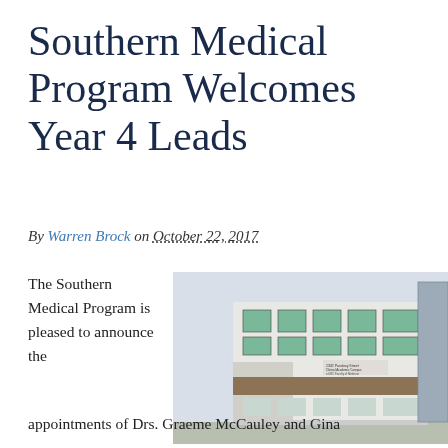Southern Medical Program Welcomes Year 4 Leads
By Warren Brock on October 22, 2017
The Southern Medical Program is pleased to announce the
[Figure (photo): Exterior of a modern medical academic campus building with green-tinted windows and signage reading '2332 Pandosy Street Clinical Academic Campus, a UBC Faculty of Medicine, Interior Health']
appointments of Drs. Graeme McCauley and Gina